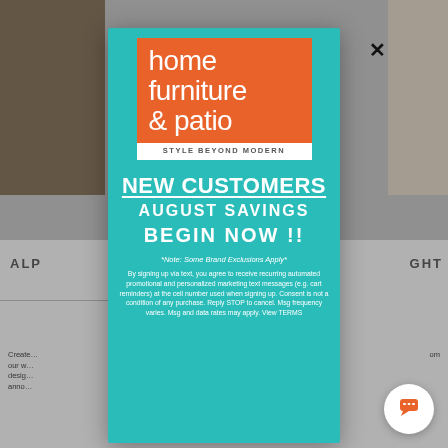[Figure (screenshot): Background website page partially visible with furniture photos and dimmed overlay]
[Figure (logo): Home Furniture & Patio logo - orange square with white text 'home furniture & patio' and tagline 'STYLE BEYOND MODERN' on white band]
NEW CUSTOMERS
AUGUST SAVINGS
BEGIN NOW !!
*Note: Some Brand Exclusions Apply*
By signing up via text, you agree to receive recurring automated promotional and personalized marketing text messages (e.g. cart reminders) at the cell number used when signing up. Consent is not a condition of any purchase. Reply STOP to cancel. Msg frequency varies. Msg and data rates may apply. View TERMS